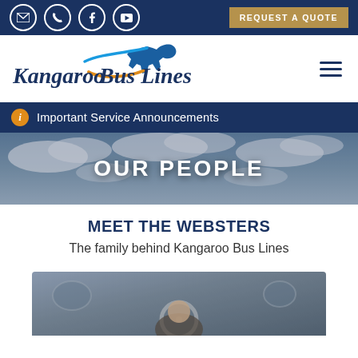Top navigation bar with email, phone, Facebook, YouTube icons and REQUEST A QUOTE button
[Figure (logo): Kangaroo Bus Lines logo with kangaroo silhouette in blue and orange, italic serif font, hamburger menu icon on right]
Important Service Announcements
OUR PEOPLE
MEET THE WEBSTERS
The family behind Kangaroo Bus Lines
[Figure (photo): Partial photo of a person in a bus, showing interior bus view from driver perspective]